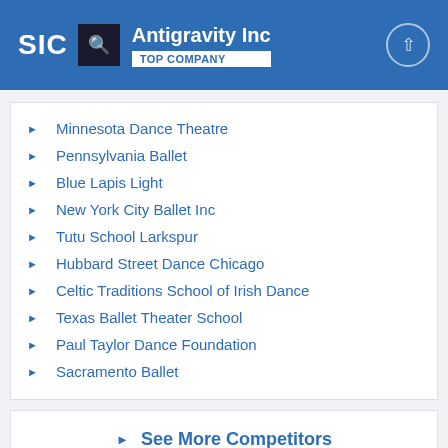SIC | Antigravity Inc | TOP COMPANY
Minnesota Dance Theatre
Pennsylvania Ballet
Blue Lapis Light
New York City Ballet Inc
Tutu School Larkspur
Hubbard Street Dance Chicago
Celtic Traditions School of Irish Dance
Texas Ballet Theater School
Paul Taylor Dance Foundation
Sacramento Ballet
See More Competitors